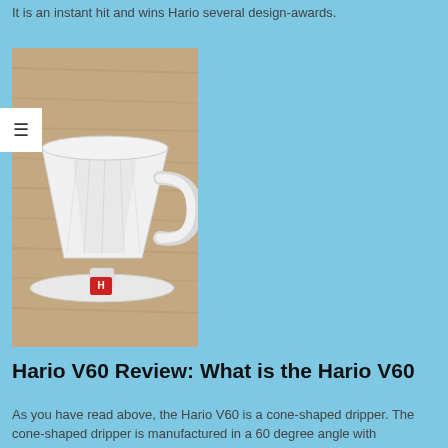It is an instant hit and wins Hario several design-awards.
[Figure (photo): A white ceramic Hario V60 coffee dripper sitting on a wooden surface, with Hario logo visible on the base.]
Hario V60 Review: What is the Hario V60
As you have read above, the Hario V60 is a cone-shaped dripper. The cone-shaped dripper is manufactured in a 60 degree angle with